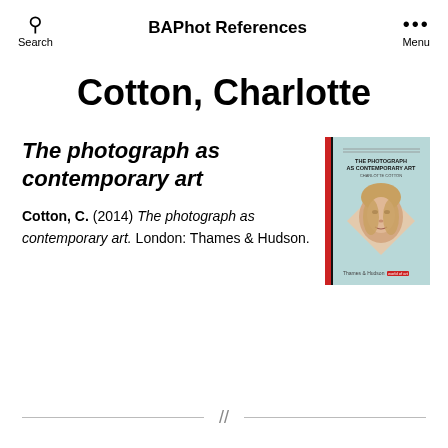BAPhot References
Cotton, Charlotte
The photograph as contemporary art
Cotton, C. (2014) The photograph as contemporary art. London: Thames & Hudson.
[Figure (photo): Book cover of 'The Photograph as Contemporary Art' by Thames & Hudson, showing a woman's face in a diamond-shaped frame on a light blue background with a red spine accent.]